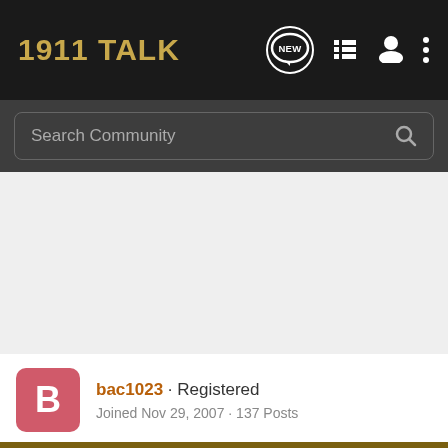1911 TALK
Search Community
[Figure (screenshot): Gray empty content area background]
bac1023 · Registered
Joined Nov 29, 2007 · 137 Posts
[Figure (infographic): Cabela's Fall Hunting Classic - Save up to 30% - Shop Now advertisement banner]
Discu